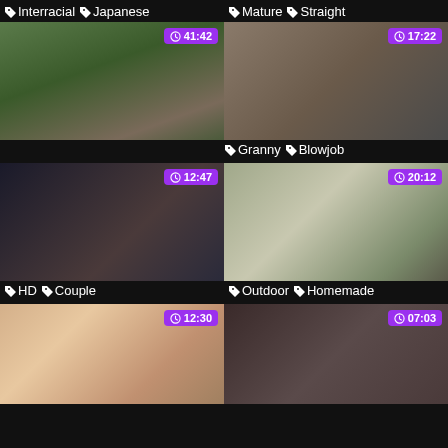Interracial Japanese
Mature Straight
[Figure (photo): Two people standing outdoors in a forest setting, duration 41:42]
[Figure (photo): Older woman with glasses in a car, duration 17:22]
Granny Blowjob
[Figure (photo): Close-up intimate scene, duration 12:47]
[Figure (photo): Woman standing next to a silver minivan outdoors, duration 20:12]
HD Couple
Outdoor Homemade
[Figure (photo): Blonde woman and man indoors, duration 12:30]
[Figure (photo): Person in a car interior, duration 07:03]